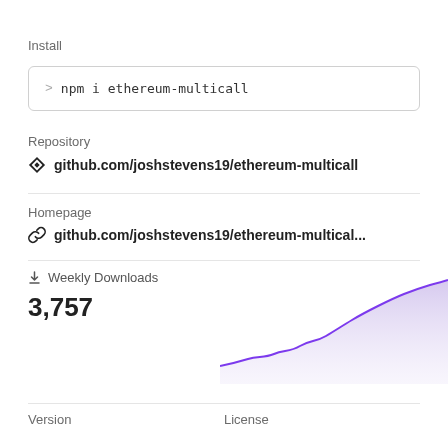Install
> npm i ethereum-multicall
Repository
github.com/joshstevens19/ethereum-multicall
Homepage
github.com/joshstevens19/ethereum-multical...
Weekly Downloads
3,757
[Figure (area-chart): Weekly downloads area chart showing upward trend, ending around 3,757. Purple line with purple fill.]
Version
License